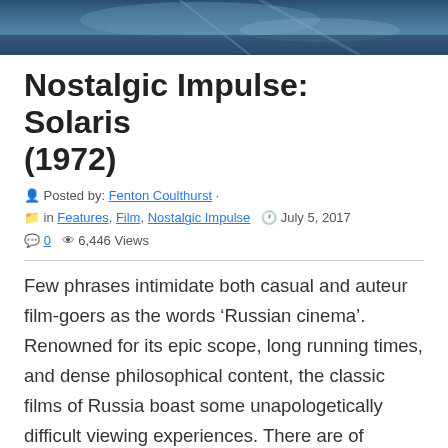[Figure (photo): Partial view of a film still from Solaris (1972), showing a blurred underwater or reflective scene with dark and blue tones.]
Nostalgic Impulse: Solaris (1972)
Posted by: Fenton Coulthurst · in Features, Film, Nostalgic Impulse  July 5, 2017  0  6,446 Views
Few phrases intimidate both casual and auteur film-goers as the words ‘Russian cinema’. Renowned for its epic scope, long running times, and dense philosophical content, the classic films of Russia boast some unapologetically difficult viewing experiences. There are of course many masters of Russian